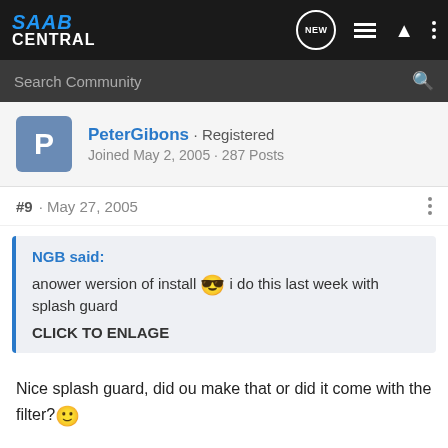SAAB CENTRAL
Search Community
PeterGibons · Registered
Joined May 2, 2005 · 287 Posts
#9 · May 27, 2005
NGB said:
anower wersion of install 😎 i do this last week with splash guard
CLICK TO ENLAGE
Nice splash guard, did ou make that or did it come with the filter?🙂